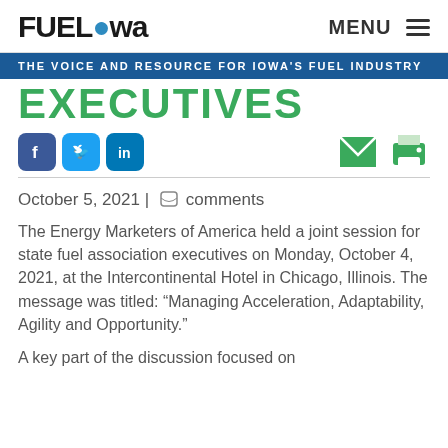FUEL Iowa  MENU
THE VOICE AND RESOURCE FOR IOWA'S FUEL INDUSTRY
EXECUTIVES
[Figure (infographic): Social media share icons: Facebook (blue), Twitter (blue), LinkedIn (blue), and email (green) and print (green) icons on the right.]
October 5, 2021 | comments
The Energy Marketers of America held a joint session for state fuel association executives on Monday, October 4, 2021, at the Intercontinental Hotel in Chicago, Illinois. The message was titled: “Managing Acceleration, Adaptability, Agility and Opportunity.”
A key part of the discussion focused on